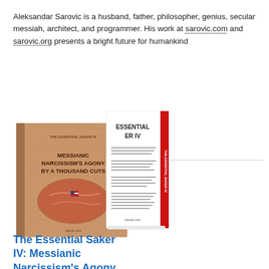Aleksandar Sarovic is a husband, father, philosopher, genius, secular messiah, architect, and programmer. His work at sarovic.com and sarovic.org presents a bright future for humankind
[Figure (photo): Photo of two book covers for 'The Essential Saker IV: Messianic Narcissism's Agony by a Thousand Cuts'. The left book shows a brown/kraft paper cover with an image of a steak shaped like the United States with a flag. The right book shows a white cover with red spine and the title text visible.]
The Essential Saker IV: Messianic Narcissism's Agony